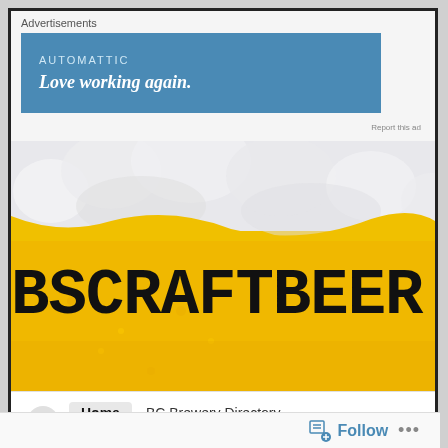Advertisements
[Figure (screenshot): Automattic advertisement banner with blue background. Text: AUTOMATTIC / Love working again.]
Report this ad
[Figure (photo): Close-up photo of a glass of golden beer with white foam head. Text overlay reads: BSCRAFTBEER.COM (partially visible, cropped)]
Home  BC Brewery Directory  Breweries/Distributors
Follow  •••